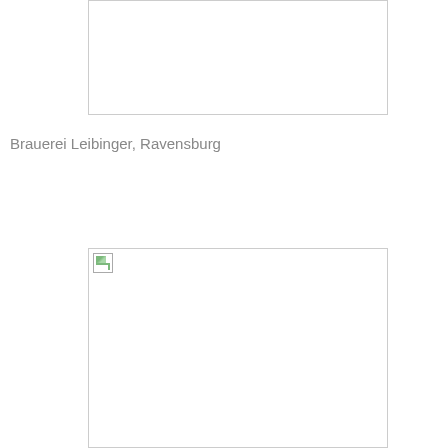[Figure (photo): Empty image placeholder box at top of page]
Brauerei Leibinger, Ravensburg
[Figure (photo): Image placeholder box at bottom of page with broken image icon]